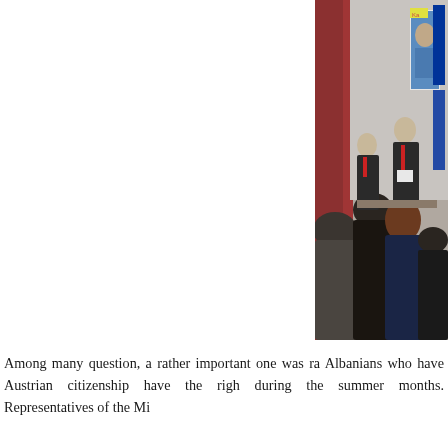[Figure (photo): Indoor meeting or conference scene. People seated with backs to camera in foreground, facing two men in suits standing/sitting at the front. Red curtains on left, white curtains in background. A banner/poster with a person's image and logos visible on right side, along with flags including EU and Kosovo flags.]
Among many question, a rather important one was ra Albanians who have Austrian citizenship have the righ during the summer months. Representatives of the Mi